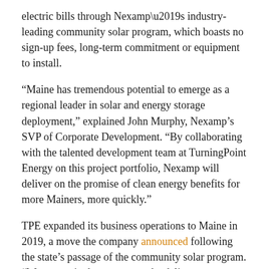electric bills through Nexamp’s industry-leading community solar program, which boasts no sign-up fees, long-term commitment or equipment to install.
“Maine has tremendous potential to emerge as a regional leader in solar and energy storage deployment,” explained John Murphy, Nexamp’s SVP of Corporate Development. “By collaborating with the talented development team at TurningPoint Energy on this project portfolio, Nexamp will deliver on the promise of clean energy benefits for more Mainers, more quickly.”
TPE expanded its business operations to Maine in 2019, a move the company announced following the state’s passage of the community solar program. “We are excited to announce the delivery on our second project portfolio in Maine and our first with Nexamp,” said Jared Schoch, President at TurningPoint Energy. “These solar farms will certainly make a positive impact on Maine’s goal of 80 percent of electricity from renewable sources by 2030.”